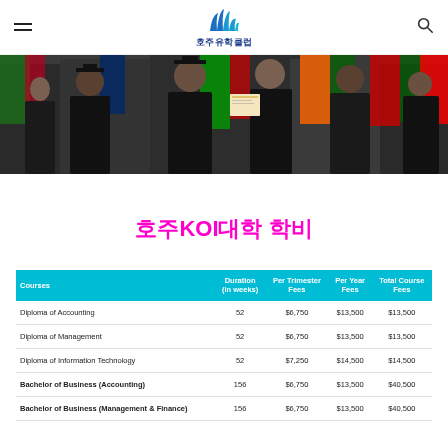호주유학클럽
[Figure (photo): Graduation ceremony photo showing people in academic robes with flags in the background]
호주KOI대학 학비
| Courses | Duration (in weeks) | Per Trimester Fees | Per Year Fees | Total Course Fees |
| --- | --- | --- | --- | --- |
| Diploma of Accounting | 52 | $6,750 | $13,500 | $13,500 |
| Diploma of Management | 52 | $6,750 | $13,500 | $13,500 |
| Diploma of Information Technology | 52 | $7,250 | $14,500 | $14,500 |
| Bachelor of Business (Accounting) | 156 | $6,750 | $13,500 | $40,500 |
| Bachelor of Business (Management & Finance) | 156 | $6,750 | $13,500 | $40,500 |